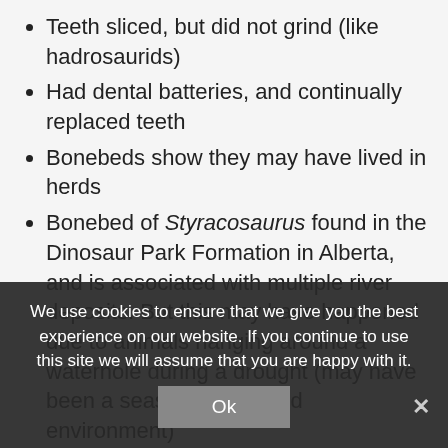Teeth sliced, but did not grind (like hadrosaurids)
Had dental batteries, and continually replaced teeth
Bonebeds show they may have lived in herds
Bonebed of Styracosaurus found in the Dinosaur Park Formation in Alberta, and is associated with multiple river deposits. But this may have happened due to animals hanging around a waterhole during a drought (may have been a seasonal, semiarid environment)
If Styracosaurus clustered together, they would have protected themselves by surrounding tyrants and attack (not good one on one, horns on one not enough)
Styracosaurus is in the Western moview The Valley of Gwangi in 1969. Ceratopsid (horned...
We use cookies to ensure that we give you the best experience on our website. If you continue to use this site we will assume that you are happy with it.